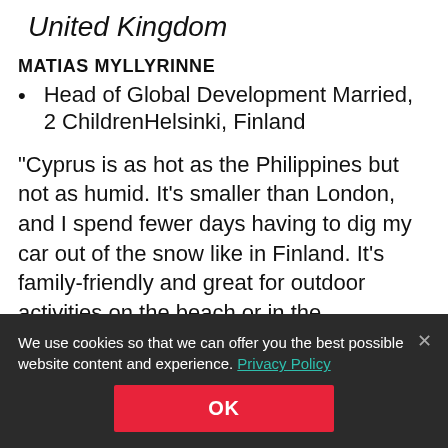United Kingdom
MATIAS MYLLYRINNE
Head of Global Development Married, 2 ChildrenHelsinki, Finland
“Cyprus is as hot as the Philippines but not as humid. It’s smaller than London, and I spend fewer days having to dig my car out of the snow like in Finland. It’s family-friendly and great for outdoor activities on the beach or in the mountains.”
We use cookies so that we can offer you the best possible website content and experience. Privacy Policy
OK